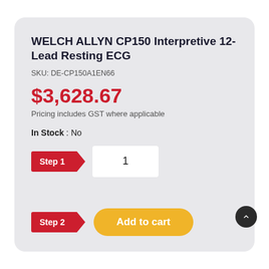WELCH ALLYN CP150 Interpretive 12-Lead Resting ECG
SKU: DE-CP150A1EN66
$3,628.67
Pricing includes GST where applicable
In Stock : No
Step 1
1
Step 2
Add to cart